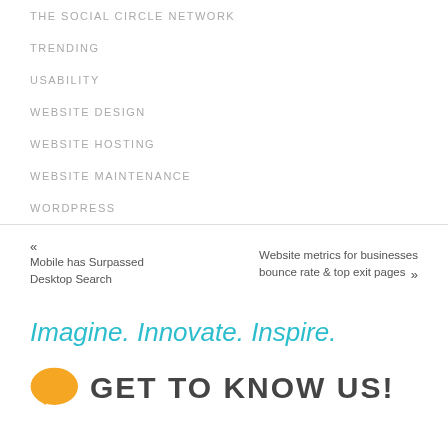The Social Circle Network
TRENDING
USABILITY
WEBSITE DESIGN
WEBSITE HOSTING
WEBSITE MAINTENANCE
WORDPRESS
« Mobile has Surpassed Desktop Search
Website metrics for businesses bounce rate & top exit pages »
Imagine. Innovate. Inspire.
GET TO KNOW US!